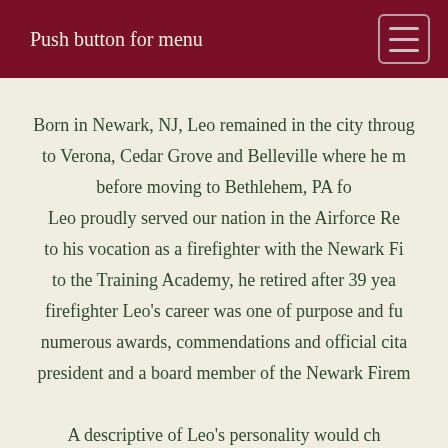Push button for menu
Born in Newark, NJ, Leo remained in the city through to Verona, Cedar Grove and Belleville where he r before moving to Bethlehem, PA fo Leo proudly served our nation in the Airforce Re to his vocation as a firefighter with the Newark Fi to the Training Academy, he retired after 39 yea firefighter Leo's career was one of purpose and fu numerous awards, commendations and official cita president and a board member of the Newark Firer
A descriptive of Leo's personality would ch